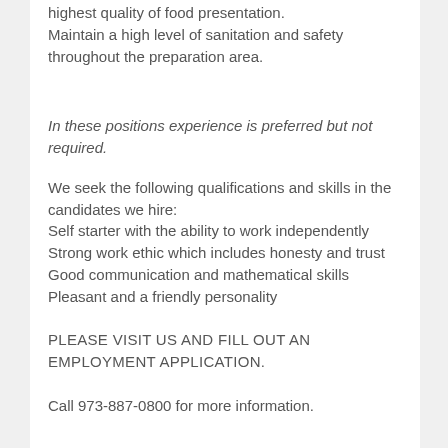highest quality of food presentation. Maintain a high level of sanitation and safety throughout the preparation area.
In these positions experience is preferred but not required.
We seek the following qualifications and skills in the candidates we hire:
Self starter with the ability to work independently
Strong work ethic which includes honesty and trust
Good communication and mathematical skills
Pleasant and a friendly personality
PLEASE VISIT US AND FILL OUT AN EMPLOYMENT APPLICATION.
Call 973-887-0800 for more information.